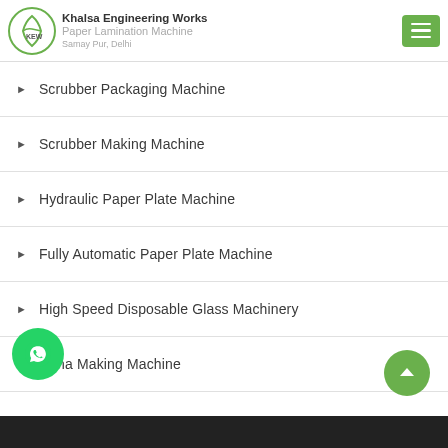Khalsa Engineering Works | Paper Lamination Machine | Samay Pur, Delhi
Scrubber Packaging Machine
Scrubber Making Machine
Hydraulic Paper Plate Machine
Fully Automatic Paper Plate Machine
High Speed Disposable Glass Machinery
Dona Making Machine
Dona Plate Making Machine
Paper Plate Die machine
Paper Dish Making Machine
Paper Bowl Making Machine